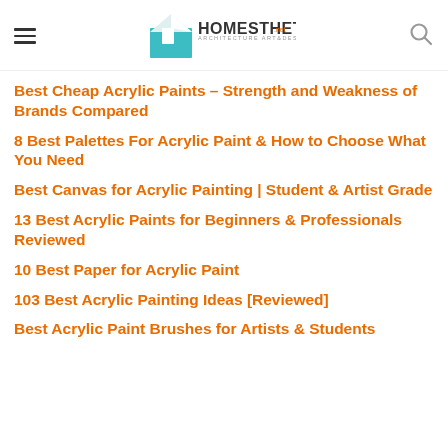Homesthetics — Architecture Art & Design
Best Cheap Acrylic Paints – Strength and Weakness of Brands Compared
8 Best Palettes For Acrylic Paint & How to Choose What You Need
Best Canvas for Acrylic Painting | Student & Artist Grade
13 Best Acrylic Paints for Beginners & Professionals Reviewed
10 Best Paper for Acrylic Paint
103 Best Acrylic Painting Ideas [Reviewed]
Best Acrylic Paint Brushes for Artists & Students